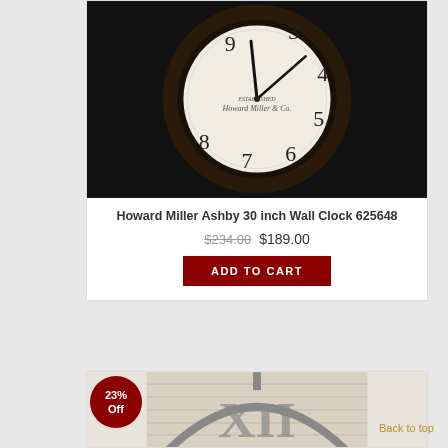[Figure (photo): Howard Miller Ashby 30 inch wall clock with dark brown round frame and cream/off-white face showing numerals 3-9 visible, hands pointing near 10 and 2]
Howard Miller Ashby 30 inch Wall Clock 625648
$234.00 $189.00
ADD TO CART
[Figure (photo): Second clock product with gray/silver metal arch frame and Roman numeral face with wood-grain background, 23% Off badge overlay]
23% Off
Back to top